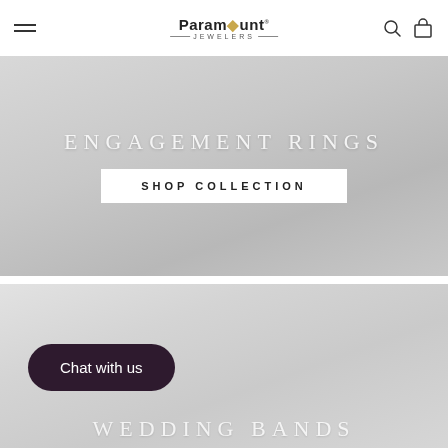Paramount Jewelers
[Figure (screenshot): Banner image for Engagement Rings with grey gradient background, text 'ENGAGEMENT RINGS' and 'SHOP COLLECTION' button]
[Figure (screenshot): Banner image for Wedding Bands with grey gradient background, text 'WEDDING BANDS' partially visible, and 'Chat with us' button overlay]